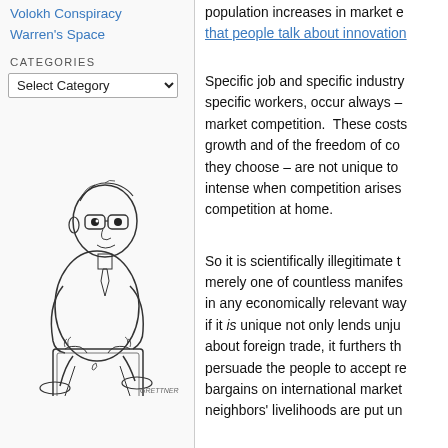Volokh Conspiracy
Warren's Space
Categories
Select Category
[Figure (illustration): Black and white sketch/caricature of a man wearing glasses, sitting hunched over a laptop computer (with an Apple logo), typing. The figure is drawn in a loose, editorial cartoon style.]
population increases in market e... that people talk about innovation
Specific job and specific industry specific workers, occur always – market competition.  These costs growth and of the freedom of co... they choose – are not unique to intense when competition arises competition at home.
So it is scientifically illegitimate t... merely one of countless manifes... in any economically relevant way... if it is unique not only lends unju... about foreign trade, it furthers th... persuade the people to accept re... bargains on international market... neighbors' livelihoods are put un...